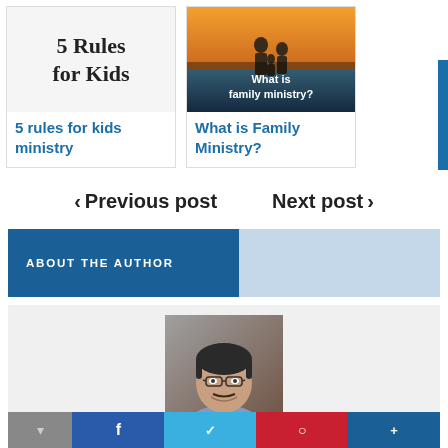[Figure (illustration): Card showing '5 Rules for Kids' text on light background]
5 rules for kids ministry
[Figure (photo): Card showing family on beach at sunset with overlay text 'What is family ministry?']
What is Family Ministry?
< Previous post    Next post >
ABOUT THE AUTHOR
[Figure (photo): Headshot of a man with glasses and dark hair, smiling]
Social sharing bar with icons